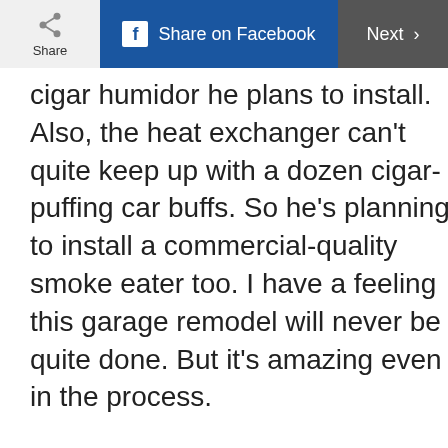Share | Share on Facebook | Next
cigar humidor he plans to install. Also, the heat exchanger can't quite keep up with a dozen cigar-puffing car buffs. So he's planning to install a commercial-quality smoke eater too. I have a feeling this garage remodel will never be quite done. But it's amazing even in the process.

These genius storage tricks will make your
Do you want our
Top stories of the day delivered to your inbox?
YES PLEASE!
NO THANKS